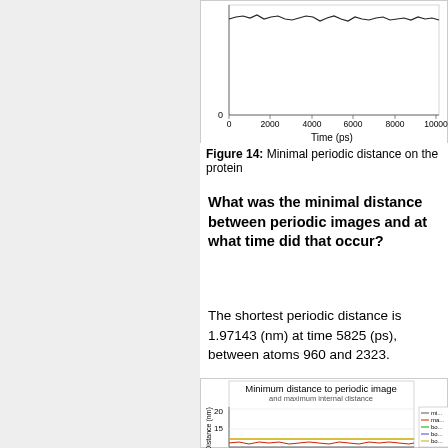[Figure (continuous-plot): Line chart showing minimal periodic distance on the protein vs Time (ps), x-axis 0–10000, y-axis starts at 0, noisy black line fluctuating around a high value.]
Figure 14: Minimal periodic distance on the protein
What was the minimal distance between periodic images and at what time did that occur?
The shortest periodic distance is 1.97143 (nm) at time 5825 (ps), between atoms 960 and 2323.
[Figure (continuous-plot): Line chart titled 'Minimum distance to periodic image and maximum internal distance'. Y-axis: Distance (nm) 5–20. Shows a yellow horizontal line near 10 and a red noisy line around 8. Legend entries: min, max, box, box, box.]